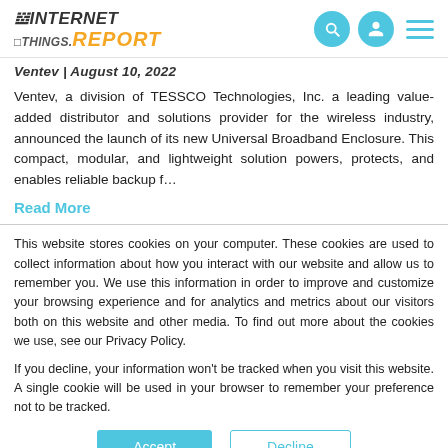THE INTERNET OF THINGS.REPORT — nav icons
Ventev | August 10, 2022
Ventev, a division of TESSCO Technologies, Inc. a leading value-added distributor and solutions provider for the wireless industry, announced the launch of its new Universal Broadband Enclosure. This compact, modular, and lightweight solution powers, protects, and enables reliable backup f...
Read More
This website stores cookies on your computer. These cookies are used to collect information about how you interact with our website and allow us to remember you. We use this information in order to improve and customize your browsing experience and for analytics and metrics about our visitors both on this website and other media. To find out more about the cookies we use, see our Privacy Policy.
If you decline, your information won't be tracked when you visit this website. A single cookie will be used in your browser to remember your preference not to be tracked.